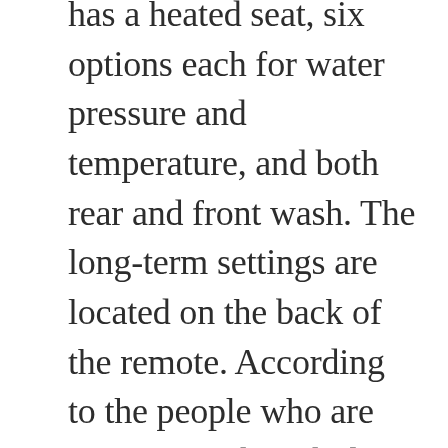has a heated seat, six options each for water pressure and temperature, and both rear and front wash. The long-term settings are located on the back of the remote. According to the people who are passionate about bidets, everyone could use one. This seat has an elongated shape and comes in a classic white color. One of the top selling points of the Genie Bidet is that it’s streamlined and won’t raise the height of your toilet seat — something that can create an uncomfortable position for many. Attachments like the Tibbers Bidet, Greenco Bidet, and the Veken Ultra-Slim Bidet all look similar, but we’re not as confident in the warranty and customer support as we are with